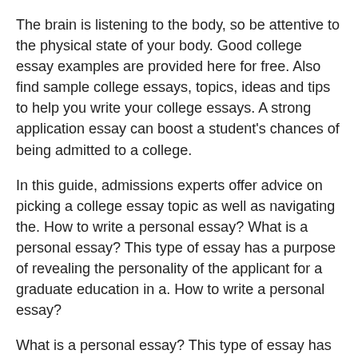The brain is listening to the body, so be attentive to the physical state of your body. Good college essay examples are provided here for free. Also find sample college essays, topics, ideas and tips to help you write your college essays. A strong application essay can boost a student's chances of being admitted to a college.
In this guide, admissions experts offer advice on picking a college essay topic as well as navigating the. How to write a personal essay? What is a personal essay? This type of essay has a purpose of revealing the personality of the applicant for a graduate education in a. How to write a personal essay?
What is a personal essay? This type of essay has a purpose of revealing the personality of the applicant for a graduate education in a certain field of study.
Why to hire an essay writer on our platform?